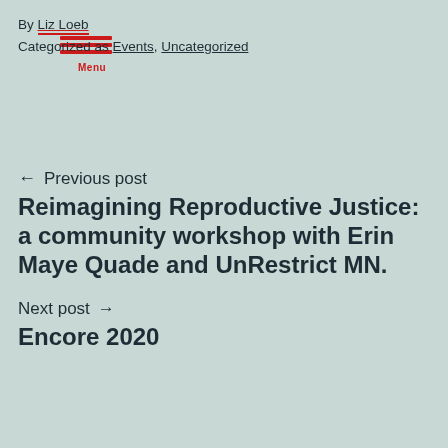By Liz Loeb
Categorized as Events, Uncategorized
← Previous post
Reimagining Reproductive Justice: a community workshop with Erin Maye Quade and UnRestrict MN.
Next post →
Encore 2020